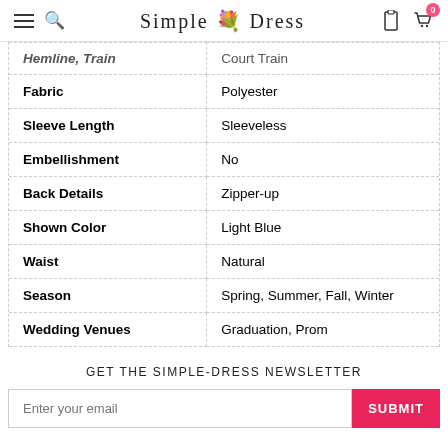Simple Dress
| Attribute | Value |
| --- | --- |
| Hemline, Train | Court Train |
| Fabric | Polyester |
| Sleeve Length | Sleeveless |
| Embellishment | No |
| Back Details | Zipper-up |
| Shown Color | Light Blue |
| Waist | Natural |
| Season | Spring, Summer, Fall, Winter |
| Wedding Venues | Graduation, Prom |
GET THE SIMPLE-DRESS NEWSLETTER